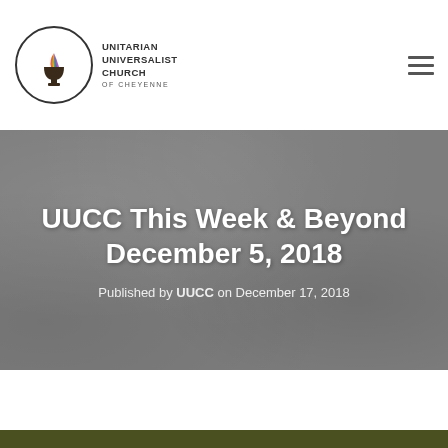[Figure (logo): Unitarian Universalist Church of Cheyenne logo — circular emblem with chalice and rainbow flame icon, with organization name text]
UUCC This Week & Beyond
December 5, 2018
Published by UUCC on December 17, 2018